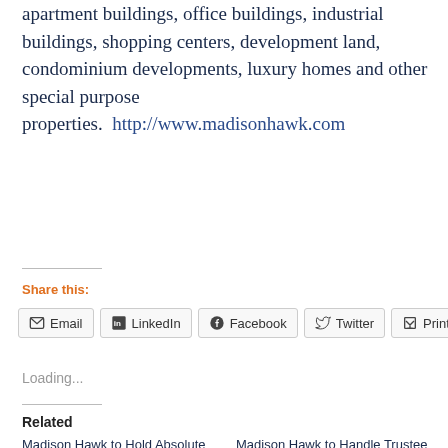apartment buildings, office buildings, industrial buildings, shopping centers, development land, condominium developments, luxury homes and other special purpose properties.  http://www.madisonhawk.com
Share this:
Email  LinkedIn  Facebook  Twitter  Print
Loading...
Related
Madison Hawk to Hold Absolute Bankruptcy Auction of Fully Approved Developable Land in Jackson, NJ
In "Madison Hawk"
Madison Hawk to Handle Trustee Ordered Auction of 1,484-Acres of Contiguous Land in Cape Coral, Florida
In "Madison Hawk"